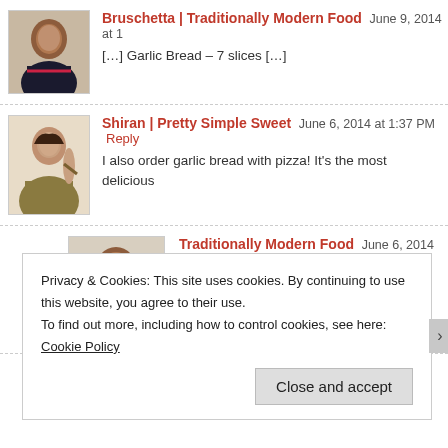[Figure (photo): Avatar photo of a woman in a dark saree with pink border]
Bruschetta | Traditionally Modern Food June 9, 2014 at 1
[...] Garlic Bread – 7 slices [...]
[Figure (photo): Avatar photo of a woman holding a wooden spoon, wearing an olive top]
Shiran | Pretty Simple Sweet June 6, 2014 at 1:37 PM Reply
I also order garlic bread with pizza! It's the most delicious
[Figure (photo): Avatar photo of a woman in a dark saree with pink border]
Traditionally Modern Food June 6, 2014 at 1:47 PM
Thanks Shiran:) Good to know someone like me:)
Privacy & Cookies: This site uses cookies. By continuing to use this website, you agree to their use.
To find out more, including how to control cookies, see here: Cookie Policy
Close and accept